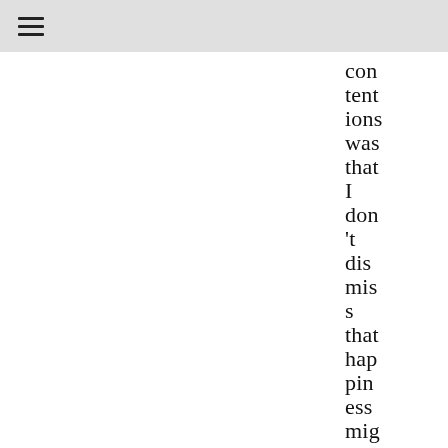≡
contentions was that I don't dismiss that happiness might be